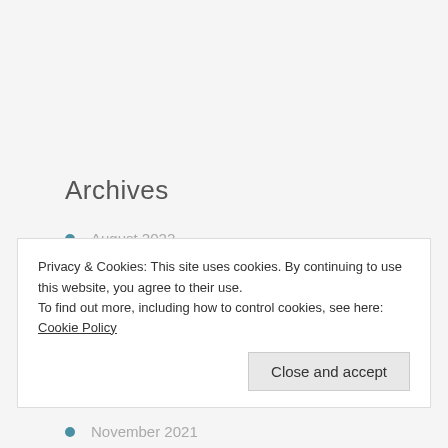Archives
August 2022
July 2022
June 2022
May 2022
April 2022
Privacy & Cookies: This site uses cookies. By continuing to use this website, you agree to their use.
To find out more, including how to control cookies, see here: Cookie Policy
November 2021